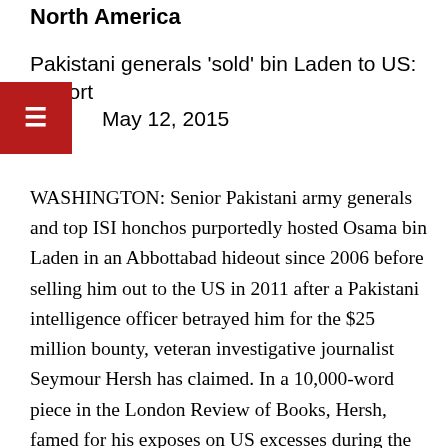North America
Pakistani generals 'sold' bin Laden to US: Report
May 12, 2015
WASHINGTON: Senior Pakistani army generals and top ISI honchos purportedly hosted Osama bin Laden in an Abbottabad hideout since 2006 before selling him out to the US in 2011 after a Pakistani intelligence officer betrayed him for the $25 million bounty, veteran investigative journalist Seymour Hersh has claimed. In a 10,000-word piece in the London Review of Books, Hersh, famed for his exposes on US excesses during the Vietnam War and after, also alleges that the US raid on Abbottabad was pretty much a cakewalk after Pakistan's then top